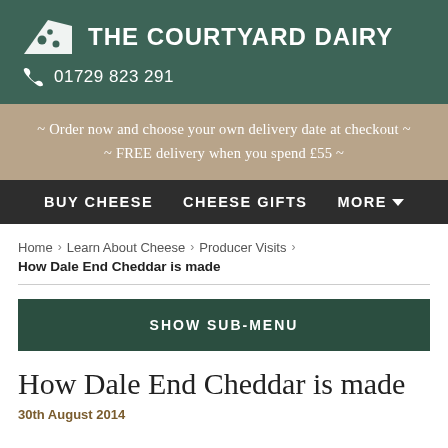THE COURTYARD DAIRY — 01729 823 291
~ Order now and choose your own delivery date at checkout ~ FREE delivery when you spend £55 ~
BUY CHEESE   CHEESE GIFTS   MORE
Home > Learn About Cheese > Producer Visits > How Dale End Cheddar is made
SHOW SUB-MENU
How Dale End Cheddar is made
30th August 2014